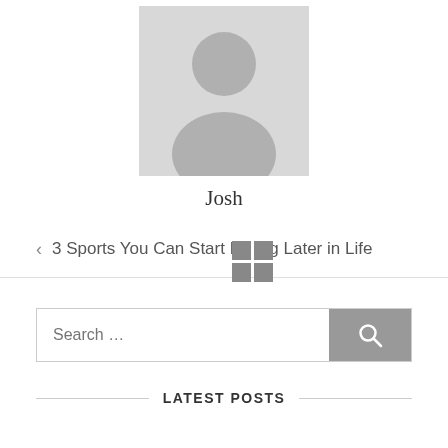[Figure (illustration): Generic user avatar placeholder image — grey silhouette of a person on a light grey background]
Josh
< 3 Sports You Can Start Doing Later in Life
[Figure (logo): Small 2x2 grey grid / Windows-style logo overlaid on the navigation text]
Search ...
LATEST POSTS